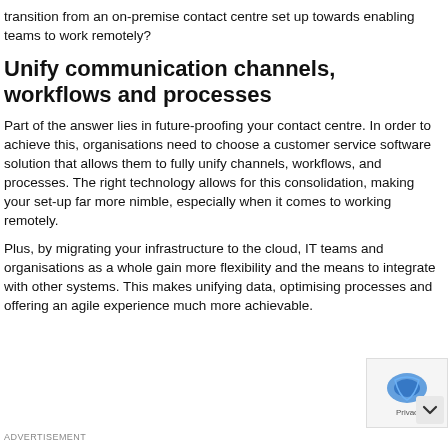transition from an on-premise contact centre set up towards enabling teams to work remotely?
Unify communication channels, workflows and processes
Part of the answer lies in future-proofing your contact centre. In order to achieve this, organisations need to choose a customer service software solution that allows them to fully unify channels, workflows, and processes. The right technology allows for this consolidation, making your set-up far more nimble, especially when it comes to working remotely.
Plus, by migrating your infrastructure to the cloud, IT teams and organisations as a whole gain more flexibility and the means to integrate with other systems. This makes unifying data, optimising processes and offering an agile experience much more achievable.
ADVERTISEMENT